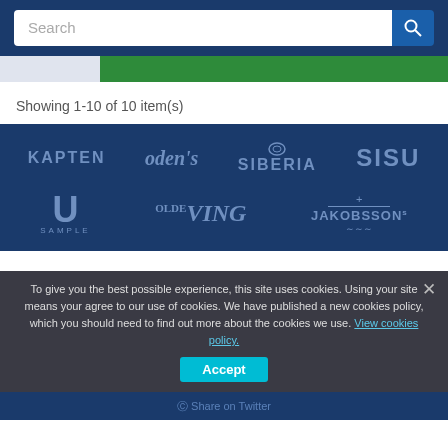[Figure (screenshot): Website header with search bar on dark blue background and green navigation bar]
Showing 1-10 of 10 item(s)
[Figure (logo): Brand logos grid on dark blue background: KAPTEN, Oden's, SIBERIA, SISU (top row); U SAMPLE, OLDE VING, JAKOBSSON'S (bottom row)]
To give you the best possible experience, this site uses cookies. Using your site means your agree to our use of cookies. We have published a new cookies policy, which you should need to find out more about the cookies we use. View cookies policy. Accept